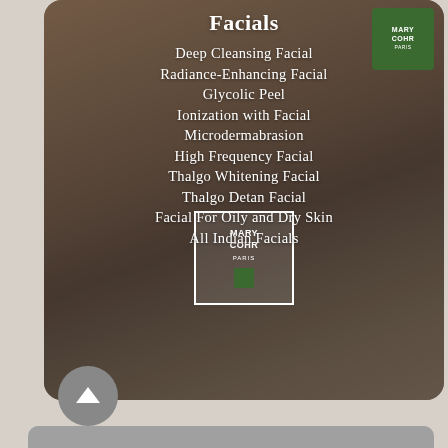Facials
Deep Cleansing Facial
Radiance-Enhancing Facial
Glycolic Peel
Ionization with Facial
Microdermabrasion
High Frequency Facial
Thalgo Whitening Facial
Thalgo Detan Facial
Facial For Oily and Dry Skin
All Indian Facials